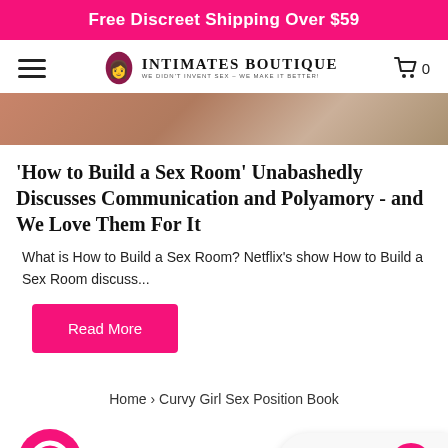Free Discreet Shipping Over $59
[Figure (logo): Intimates Boutique logo with icon and tagline 'We Didn't Invent Sex - We Make It Better!']
[Figure (photo): Partial hero image showing close-up of a person with warm tones]
'How to Build a Sex Room' Unabashedly Discusses Communication and Polyamory - and We Love Them For It
What is How to Build a Sex Room? Netflix's show How to Build a Sex Room discuss...
Read More
Home › Curvy Girl Sex Position Book
You also Vi
REWARDS